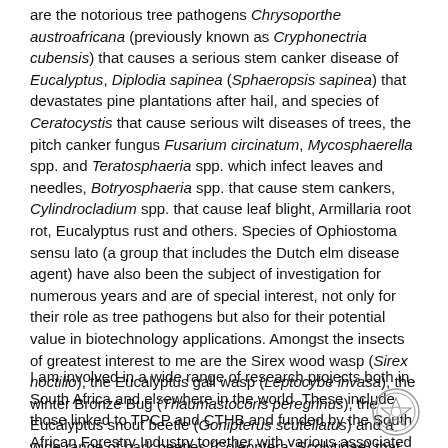are the notorious tree pathogens Chrysoporthe austroafricana (previously known as Cryphonectria cubensis) that causes a serious stem canker disease of Eucalyptus, Diplodia sapinea (Sphaeropsis sapinea) that devastates pine plantations after hail, and species of Ceratocystis that cause serious wilt diseases of trees, the pitch canker fungus Fusarium circinatum, Mycosphaerella spp. and Teratosphaeria spp. which infect leaves and needles, Botryosphaeria spp. that cause stem cankers, Cylindrocladium spp. that cause leaf blight, Armillaria root rot, Eucalyptus rust and others. Species of Ophiostoma sensu lato (a group that includes the Dutch elm disease agent) have also been the subject of investigation for numerous years and are of special interest, not only for their role as tree pathogens but also for their potential value in biotechnology applications. Amongst the insects of greatest interest to me are the Sirex wood wasp (Sirex noctilio), the Eucalyptus gall wasp (Leptocybe invasa), the winter Bronze Bug (Thaumastocoris peregrinus), the Eucalyptus snout beetle (Gonipterus scutellatus) and a wide range of bark beetles (Coleoptera: Scolytidae) that infest conifers. For all these insect pests, our research team has intensive projects, mainly linked to biological control, aimed at reducing their impact.
I am involved in a wide range of research projects both in South Africa and elsewhere in the world. These include those linked to TPCP and CTHB and funded by the South African Forestry Industry together with various associated Government grants, international